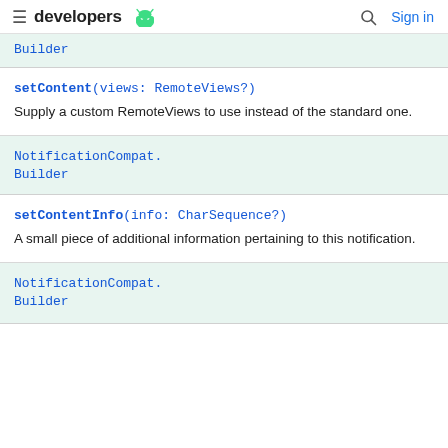developers (android logo) Sign in
Builder
setContent(views: RemoteViews?)
Supply a custom RemoteViews to use instead of the standard one.
NotificationCompat.Builder
setContentInfo(info: CharSequence?)
A small piece of additional information pertaining to this notification.
NotificationCompat.Builder